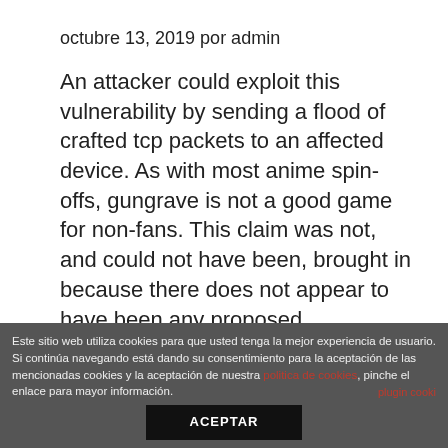octubre 13, 2019 por admin
An attacker could exploit this vulnerability by sending a flood of crafted tcp packets to an affected device. As with most anime spin-offs, gungrave is not a good game for non-fans. This claim was not, and could not have been, brought in because there does not appear to have been any proposed development or consequent runoff in the basin at that time. Yet this is far more than a ripped-from-the-headlines story. We draw upon our love of nature and work in harmony
Este sitio web utiliza cookies para que usted tenga la mejor experiencia de usuario. Si continúa navegando está dando su consentimiento para la aceptación de las mencionadas cookies y la aceptación de nuestra politica de cookies, pinche el enlace para mayor información. ACEPTAR plugin cooki